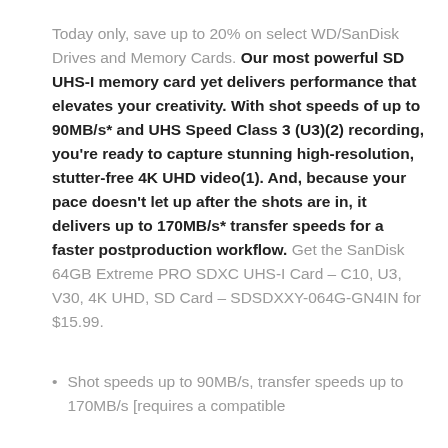Today only, save up to 20% on select WD/SanDisk Drives and Memory Cards. Our most powerful SD UHS-I memory card yet delivers performance that elevates your creativity. With shot speeds of up to 90MB/s* and UHS Speed Class 3 (U3)(2) recording, you're ready to capture stunning high-resolution, stutter-free 4K UHD video(1). And, because your pace doesn't let up after the shots are in, it delivers up to 170MB/s* transfer speeds for a faster postproduction workflow. Get the SanDisk 64GB Extreme PRO SDXC UHS-I Card – C10, U3, V30, 4K UHD, SD Card – SDSDXXY-064G-GN4IN for $15.99.
Shot speeds up to 90MB/s, transfer speeds up to 170MB/s [requires a compatible